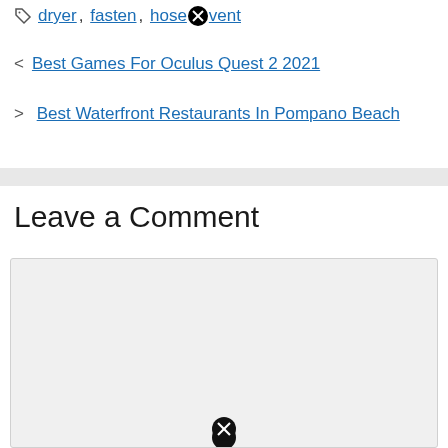Tags: dryer, fasten, hose [x] vent
< Best Games For Oculus Quest 2 2021
> Best Waterfront Restaurants In Pompano Beach
Leave a Comment
[Figure (other): Comment text input area (empty textarea with light gray background)]